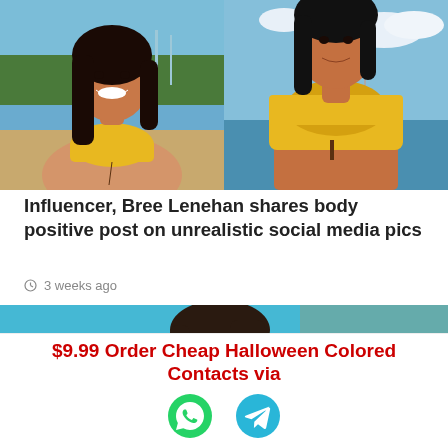[Figure (photo): Two side-by-side photos of a woman in a yellow bikini, left shows her smiling at beach, right shows closer view at waterfront]
Influencer, Bree Lenehan shares body positive post on unrealistic social media pics
3 weeks ago
[Figure (photo): Woman in a pool looking up, wearing a dark swimsuit, blue water background]
$9.99 Order Cheap Halloween Colored Contacts via
[Figure (illustration): WhatsApp green icon and Telegram blue icon]